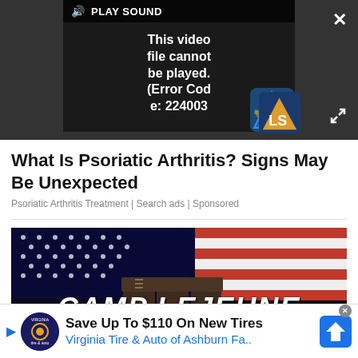[Figure (screenshot): Video player showing error message 'This video file cannot be played. (Error Code: 224003)' with PLAY SOUND button, LS logo, close X button, and expand icon on dark background.]
What Is Psoriatic Arthritis? Signs May Be Unexpected
Psoriatic Arthritis Treatment | Search ads | Sponsored
[Figure (photo): Camp Lejeune promotional image showing military boots and American flag background with text 'CAMP LEJEUNE' in large white letters.]
Save Up To $110 On New Tires Virginia Tire & Auto of Ashburn Fa..